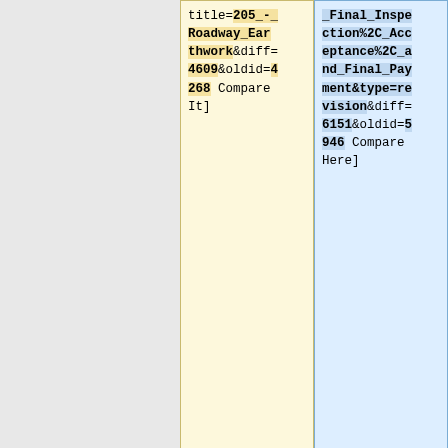title=205_-_Roadway_Earthwork&diff=4609&oldid=4268 Compare It]
_Final_Inspection%2C_Acceptance%2C_and_Final_Payment&type=revision&diff=6151&oldid=5946 Compare Here]
|-
|-
| <center>4/19/2017</center>|| <center>1</center>|| <center> [[104.07_Contractor_Obligations#Proj
| <center>3/15/2021</center>|| <center>1</center>|| <center> [[Digital_Calculations_for_Payment|1